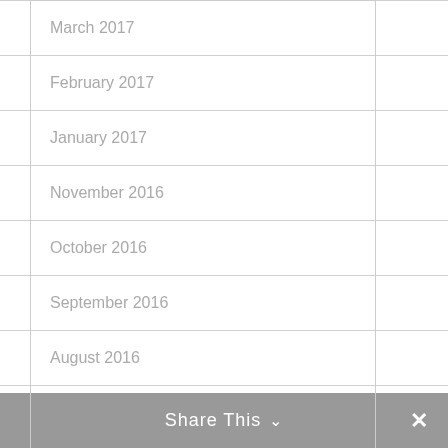March 2017
February 2017
January 2017
November 2016
October 2016
September 2016
August 2016
June 2016
Share This ∨